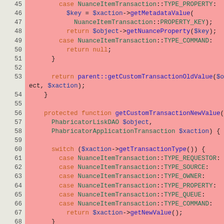[Figure (screenshot): PHP source code listing showing lines 45-69 with syntax highlighting on a pink/salmon background. Code shows getCustomTransactionOldValue and getCustomTransactionNewValue methods with switch statements handling NuanceItemTransaction type constants.]